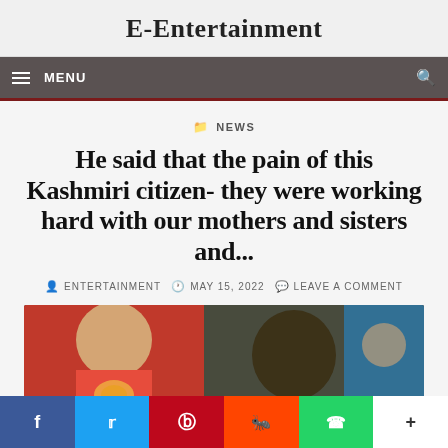E-Entertainment
MENU
NEWS
He said that the pain of this Kashmiri citizen- they were working hard with our mothers and sisters and...
ENTERTAINMENT   MAY 15, 2022   LEAVE A COMMENT
[Figure (photo): Photo of two people, one wearing a red/pink outfit with embroidery, another with dark hair, against a patterned background]
f  Twitter  Pinterest  Reddit  WhatsApp  +